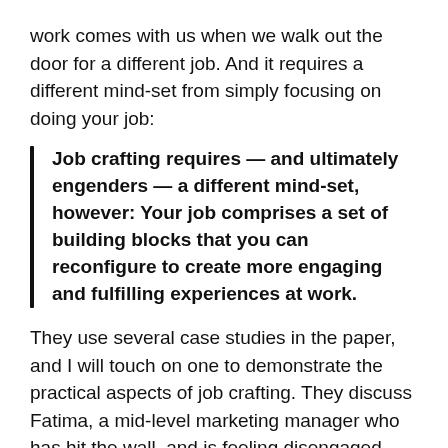work comes with us when we walk out the door for a different job. And it requires a different mind-set from simply focusing on doing your job:
Job crafting requires — and ultimately engenders — a different mind-set, however: Your job comprises a set of building blocks that you can reconfigure to create more engaging and fulfilling experiences at work.
They use several case studies in the paper, and I will touch on one to demonstrate the practical aspects of job crafting. They discuss Fatima, a mid-level marketing manager who has hit the wall, and is feeling disengaged from her job and her work. Thier job crafting technique involves creating before and after 'job diagrams'. As they describe it:
Once she has created her before diagram, this